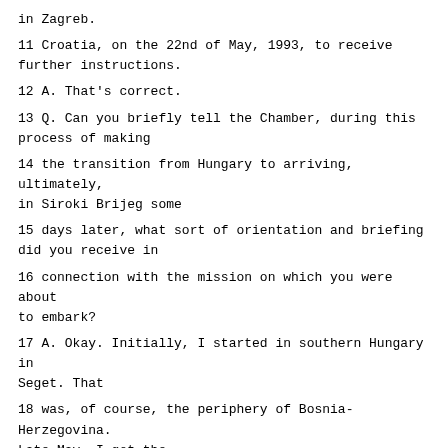in Zagreb.
11 Croatia, on the 22nd of May, 1993, to receive further instructions.
12 A. That's correct.
13 Q. Can you briefly tell the Chamber, during this process of making
14 the transition from Hungary to arriving, ultimately, in Siroki Brijeg some
15 days later, what sort of orientation and briefing did you receive in
16 connection with the mission on which you were about to embark?
17 A. Okay. Initially, I started in southern Hungary in Seget. That
18 was, of course, the periphery of Bosnia-Herzegovina. Late May, I got the
19 order and the transfer to Bosnia due to a lack of personnel, and I think
20 experienced personnel, and that was the reason that they called me back to
21 Zagreb. There, I got a from ECMM, at the HQ, the